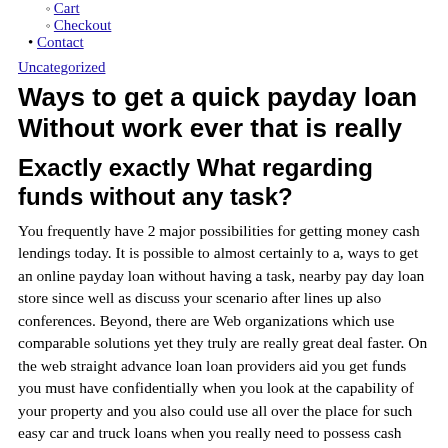Cart
Checkout
Contact
Uncategorized
Ways to get a quick payday loan Without work ever that is really
Exactly exactly What regarding funds without any task?
You frequently have 2 major possibilities for getting money cash lendings today. It is possible to almost certainly to a, ways to get an online payday loan without having a task, nearby pay day loan store since well as discuss your scenario after lines up also conferences. Beyond, there are Web organizations which use comparable solutions yet they truly are really great deal faster. On the web straight advance loan loan providers aid you get funds you must have confidentially when you look at the capability of your property and you also could use all over the place for such easy car and truck loans when you really need to possess cash currently no task.